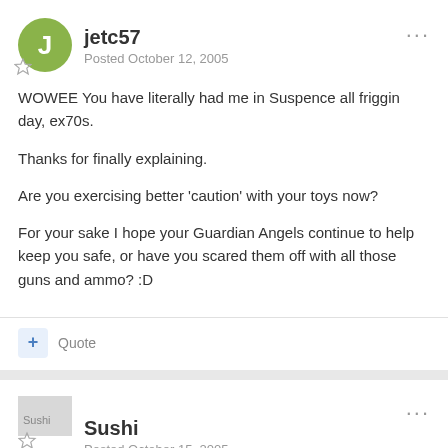jetc57 | Posted October 12, 2005
WOWEE You have literally had me in Suspence all friggin day, ex70s.
Thanks for finally explaining.
Are you exercising better 'caution' with your toys now?
For your sake I hope your Guardian Angels continue to help keep you safe, or have you scared them off with all those guns and ammo? :D
Sushi | Posted October 15, 2005